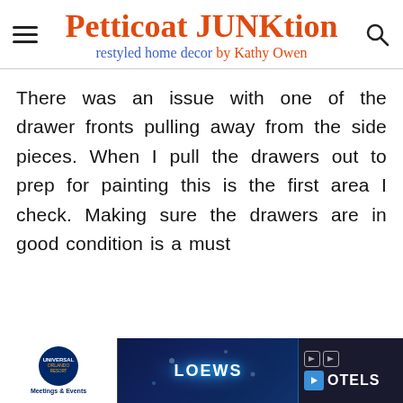Petticoat JUNKtion — restyled home decor by Kathy Owen
There was an issue with one of the drawer fronts pulling away from the side pieces. When I pull the drawers out to prep for painting this is the first area I check. Making sure the drawers are in good condition is a must
[Figure (screenshot): Advertisement banner at bottom of page showing Universal Orlando Resort Meetings & Events logo on left, dark blue event imagery in center with LOEWS text, and OTELS text with play button on right]